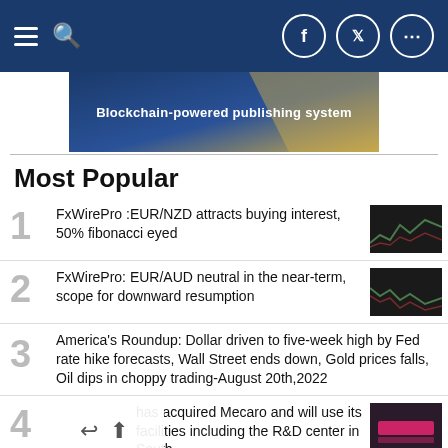Navigation bar with menu, search, and social icons (Facebook, Twitter, More)
[Figure (other): Blockchain-powered publishing system advertisement banner with blue and gold background]
Most Popular
1 FxWirePro :EUR/NZD attracts buying interest, 50% fibonacci eyed
2 FxWirePro: EUR/AUD neutral in the near-term, scope for downward resumption
3 America's Roundup: Dollar driven to five-week high by Fed rate hike forecasts, Wall Street ends down, Gold prices falls, Oil dips in choppy trading-August 20th,2022
4 [partially obscured] has acquired Mecaro and will use its facilities including the R&D center in South